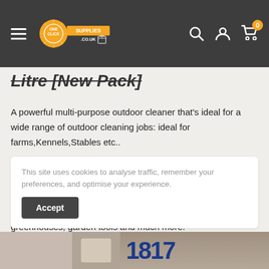One Click Supplies .co.uk navigation bar
Litre [New Pack]
A powerful multi-purpose outdoor cleaner that's ideal for a wide range of outdoor cleaning jobs: ideal for farms,Kennels,Stables etc..
• Disinfects hard outdoor surfaces – kills 99.9% germs • Clears blockages and deodorises drains • Cleans and disinfects pots, containers, seed trays, hanging baskets, greenhouses, garden tools and much more!
This site uses cookies to analyse traffic, remember your preferences, and optimise your experience.
[Figure (screenshot): Bottom product image strip showing partial product image and blue numbers 1817]